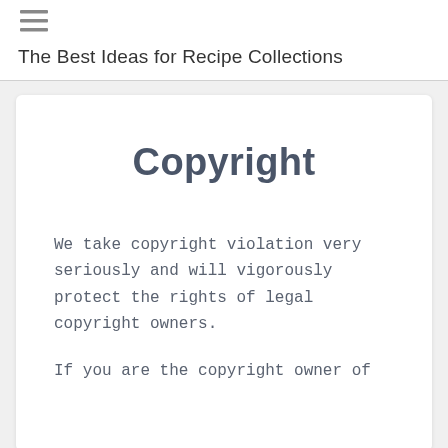[Figure (other): Hamburger menu icon with three horizontal lines]
The Best Ideas for Recipe Collections
Copyright
We take copyright violation very seriously and will vigorously protect the rights of legal copyright owners.
If you are the copyright owner of